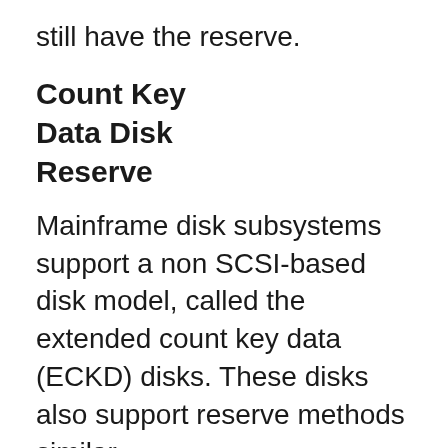still have the reserve.
Count Key Data Disk Reserve
Mainframe disk subsystems support a non SCSI-based disk model, called the extended count key data (ECKD) disks. These disks also support reserve methods similar